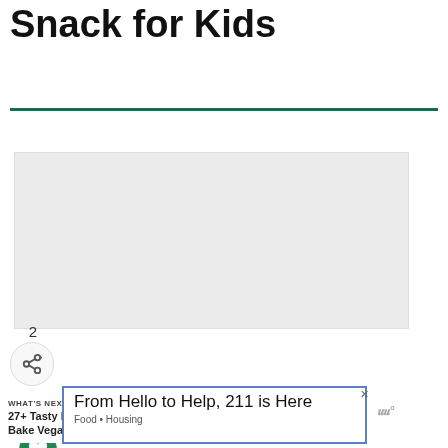Back to School Snack for Kids
Source
[Figure (photo): Image area showing a recipe photo (partially visible), with social interaction buttons: a green heart/like button, count of 2, and a share button below]
WHAT'S NEXT → 27+ Tasty No Bake Vegan...
From Hello to Help, 211 is Here
Food • Housing